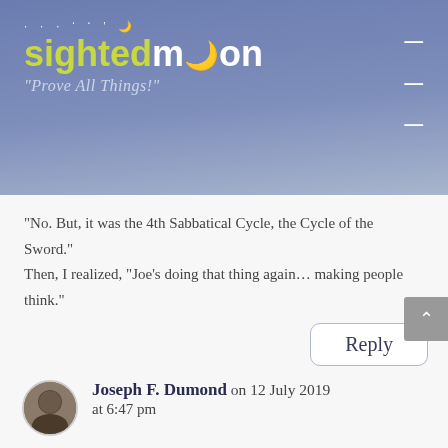sightedmoon "Prove All Things!"
“No. But, it was the 4th Sabbatical Cycle, the Cycle of the Sword.” Then, I realized, “Joe’s doing that thing again… making people think.”
Reply
Joseph F. Dumond on 12 July 2019 at 6:47 pm
LOL Mike yes. People need to exercise that muscle between their ears or the grey matter dries up. So let me ask the questions again. When